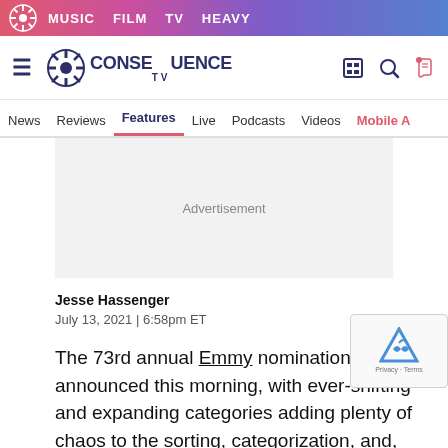MUSIC  FILM  TV  HEAVY
[Figure (logo): Consequence TV site logo with gear icon]
News  Reviews  Features  Live  Podcasts  Videos  Mobile A
[Figure (screenshot): Advertisement placeholder block]
Jesse Hassenger
July 13, 2021 | 6:58pm ET
The 73rd annual Emmy nominations were announced this morning, with ever-shifting and expanding categories adding plenty of chaos to the sorting, categorization, and, yes,